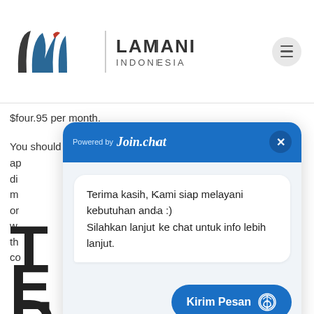[Figure (logo): Lamani Indonesia logo with stylized 'lwi' lettering and brand name]
$four.95 per month.
You should utilize SilverSingles on their website or via their ap... di... m... or... w... th... co...
[Figure (screenshot): Join.chat popup overlay with message: Powered by Join.chat, close button, message bubble saying 'Terima kasih, Kami siap melayani kebutuhan anda :) Silahkan lanjut ke chat untuk info lebih lanjut.' and a 'Kirim Pesan' send button]